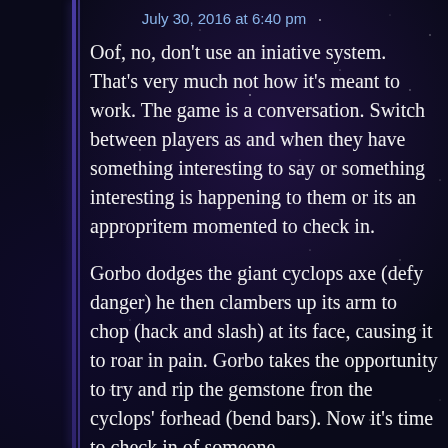July 30, 2016 at 6:40 pm
Oof, no, don't use an iniative system. That's very much not how it's meant to work. The game is a conversation. Switch between players as and when they have something interesting to say or something interesting is happening to them or its an appropritem momented to check in.
Gorbo dodges the giant cyclops axe (defy danger) he then clambers up its arm to chop (hack and slash) at its face, causing it to roar in pain. Gorbo takes the opportunity to try and rip the gemstone fron the cyclops' forhead (bend bars). Now it's time to check in of someone